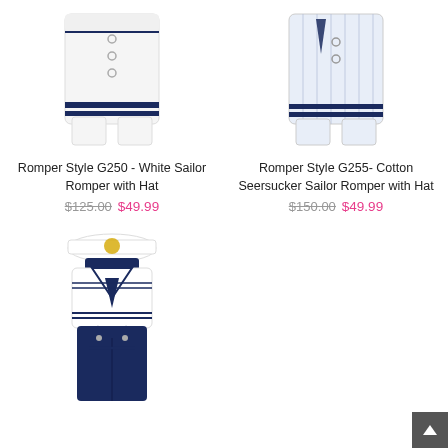[Figure (photo): White sailor romper with navy trim, buttons down front, shown from waist up]
Romper Style G250 - White Sailor Romper with Hat
$125.00  $49.99
[Figure (photo): Cotton seersucker sailor romper with navy stripes and trim, shown from waist up]
Romper Style G255- Cotton Seersucker Sailor Romper with Hat
$150.00  $49.99
[Figure (photo): Navy sailor outfit with white sailor top, suspenders, hat with nautical emblem, and navy shorts/pants]